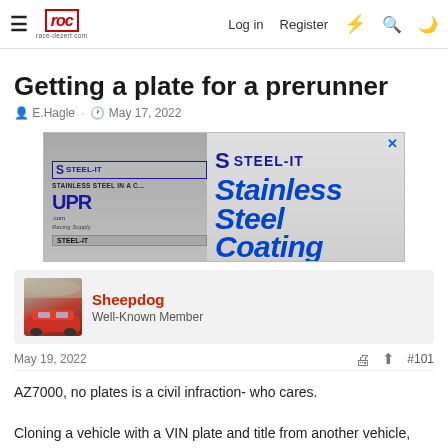race-dezert.com — Log in  Register
Getting a plate for a prerunner
E.Hagle · May 17, 2022
[Figure (photo): STEEL-IT Stainless Steel Coating advertisement banner showing spray cans and UPR Racing Supply branding]
Sheepdog
Well-Known Member
May 19, 2022  #101
AZ7000, no plates is a civil infraction- who cares.
Cloning a vehicle with a VIN plate and title from another vehicle,